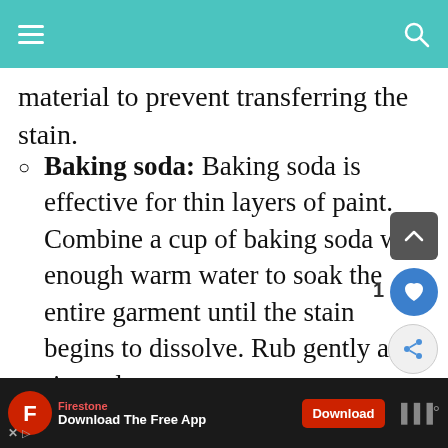[Navigation bar with menu and search icons]
material to prevent transferring the stain.
Baking soda: Baking soda is effective for thin layers of paint. Combine a cup of baking soda with enough warm water to soak the entire garment until the stain begins to dissolve. Rub gently and rinse clean.
Vinegar: Along with being acidic, the aluminum chloride and zinc salts released by vinegar can lift paint away
[Figure (other): Firestone app advertisement banner at bottom of screen]
Firestone — Download The Free App [Download button]